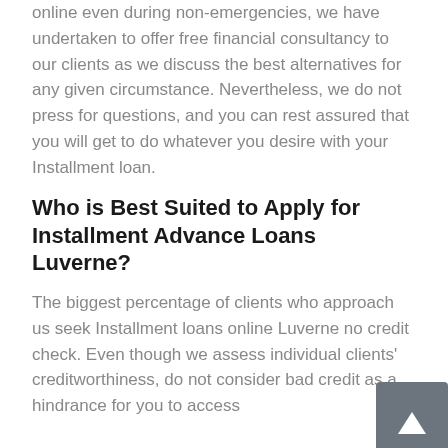online even during non-emergencies, we have undertaken to offer free financial consultancy to our clients as we discuss the best alternatives for any given circumstance. Nevertheless, we do not press for questions, and you can rest assured that you will get to do whatever you desire with your Installment loan.
Who is Best Suited to Apply for Installment Advance Loans Luverne?
The biggest percentage of clients who approach us seek Installment loans online Luverne no credit check. Even though we assess individual clients' creditworthiness, do not consider bad credit as a hindrance for you to access
[Figure (other): Dark grey scroll-to-top button with white upward arrow icon]
Apply Now
Applying does NOT affect your credit score!
No credit check to apply.